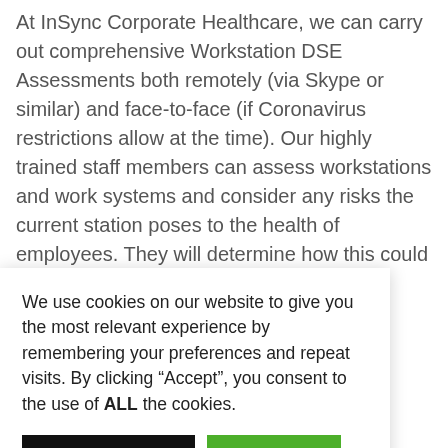At InSync Corporate Healthcare, we can carry out comprehensive Workstation DSE Assessments both remotely (via Skype or similar) and face-to-face (if Coronavirus restrictions allow at the time). Our highly trained staff members can assess workstations and work systems and consider any risks the current station poses to the health of employees. They will determine how this could be changed or adjusted to serve the employees better
We use cookies on our website to give you the most relevant experience by remembering your preferences and repeat visits. By clicking “Accept”, you consent to the use of ALL the cookies.
Cookie settings   ACCEPT
occupational workstation edge to test ve changes ees and will duty in these
aspects. They can assess both temporary and